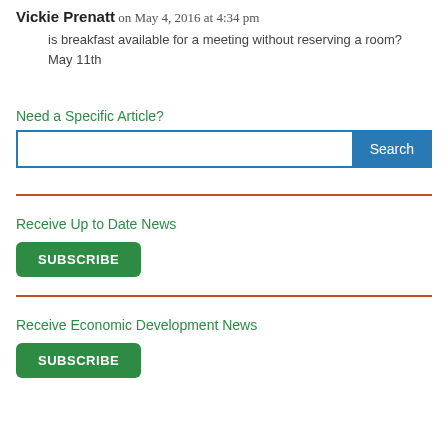Vickie Prenatt on May 4, 2016 at 4:34 pm
is breakfast available for a meeting without reserving a room? May 11th
Need a Specific Article?
Search
Receive Up to Date News
SUBSCRIBE
Receive Economic Development News
SUBSCRIBE